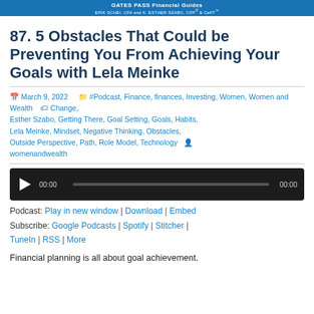GATES PASS Financial Guides
ERIK SCHEI, CFA and K. ESTHER SZABO, CFP® & CeFT™
87. 5 Obstacles That Could be Preventing You From Achieving Your Goals with Lela Meinke
March 9, 2022  #Podcast, Finance, finances, Investing, Women, Women and Wealth  Change, Esther Szabo, Getting There, Goal Setting, Goals, Habits, Lela Meinke, Mindset, Negative Thinking, Obstacles, Outside Perspective, Path, Role Model, Technology  womenandwealth
[Figure (other): Audio player with play button, timestamp 00:00, progress bar, and end time 00:00]
Podcast: Play in new window | Download | Embed
Subscribe: Google Podcasts | Spotify | Stitcher | TuneIn | RSS | More
Financial planning is all about goal achievement.